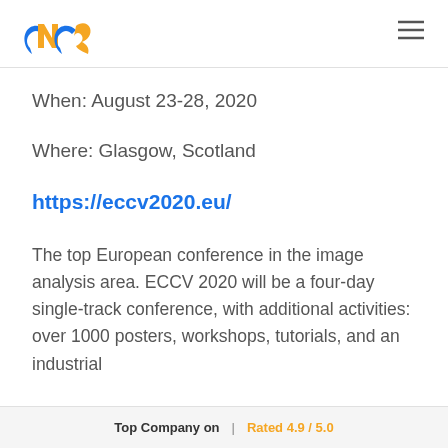[Figure (logo): Stylized SNS logo with blue and orange interlocking letters]
[Figure (other): Hamburger menu icon (three horizontal lines)]
When: August 23-28, 2020
Where: Glasgow, Scotland
https://eccv2020.eu/
The top European conference in the image analysis area. ECCV 2020 will be a four-day single-track conference, with additional activities: over 1000 posters, workshops, tutorials, and an industrial
Top Company on  |  Rated 4.9 / 5.0